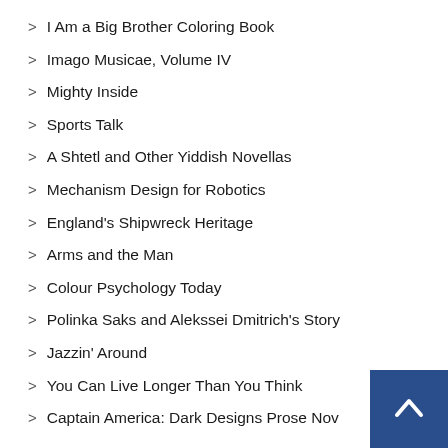I Am a Big Brother Coloring Book
Imago Musicae, Volume IV
Mighty Inside
Sports Talk
A Shtetl and Other Yiddish Novellas
Mechanism Design for Robotics
England's Shipwreck Heritage
Arms and the Man
Colour Psychology Today
Polinka Saks and Alekssei Dmitrich's Story
Jazzin' Around
You Can Live Longer Than You Think
Captain America: Dark Designs Prose Nov